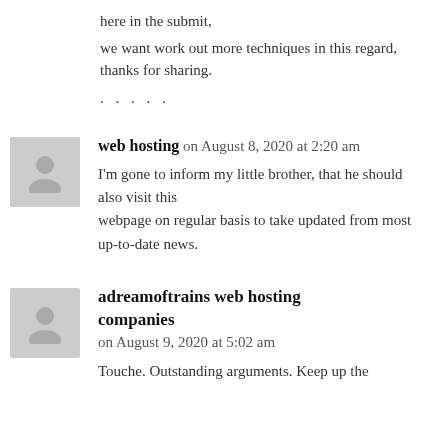here in the submit,
we want work out more techniques in this regard, thanks for sharing.
. . . . .
web hosting on August 8, 2020 at 2:20 am
I'm gone to inform my little brother, that he should also visit this webpage on regular basis to take updated from most up-to-date news.
adreamoftrains web hosting companies on August 9, 2020 at 5:02 am
Touche. Outstanding arguments. Keep up the